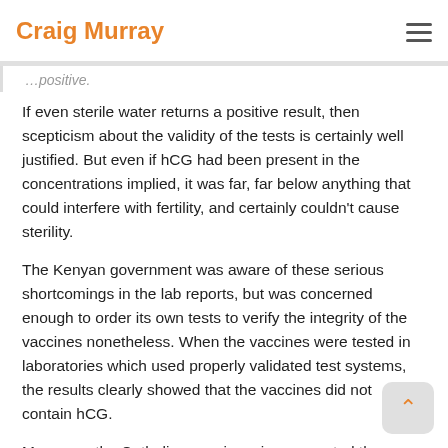Craig Murray
If even sterile water returns a positive result, then scepticism about the validity of the tests is certainly well justified. But even if hCG had been present in the concentrations implied, it was far, far below anything that could interfere with fertility, and certainly couldn't cause sterility.
The Kenyan government was aware of these serious shortcomings in the lab reports, but was concerned enough to order its own tests to verify the integrity of the vaccines nonetheless. When the vaccines were tested in laboratories which used properly validated test systems, the results clearly showed that the vaccines did not contain hCG.
Moreover, the Catholic agencies misrepresented the results, claiming that they were evidence of a clandestine sterilisation programme. The bishops pressed ahead with their smear campaign against the vaccination programme, subsequently